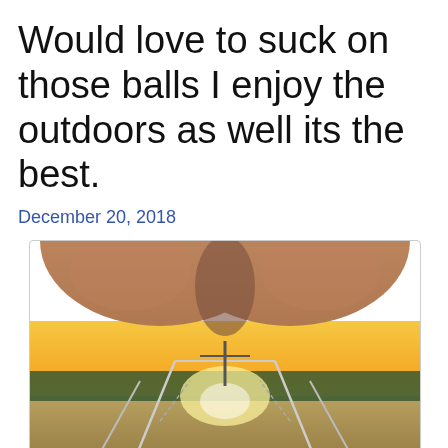Would love to suck on those balls I enjoy the outdoors as well its the best.
December 20, 2018
[Figure (photo): A photograph taken outdoors on a boat at sunset, showing a close-up view with a marina and treeline in the background with golden light.]